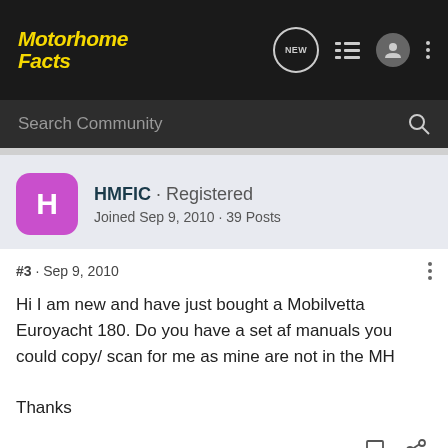[Figure (screenshot): Motorhome Facts website logo in yellow italic bold text on dark background]
Search Community
HMFIC · Registered
Joined Sep 9, 2010 · 39 Posts
#3 · Sep 9, 2010
Hi I am new and have just bought a Mobilvetta Euroyacht 180. Do you have a set af manuals you could copy/ scan for me as mine are not in the MH

Thanks